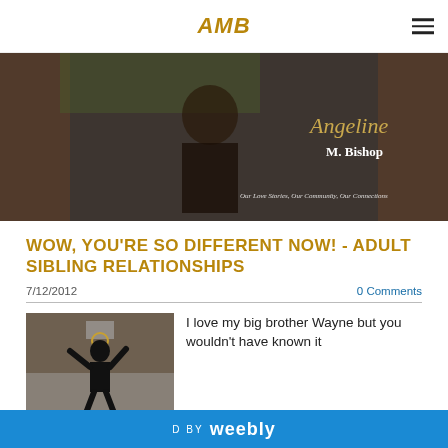AMB
[Figure (photo): Hero banner photo of Angeline M. Bishop with name overlay in gold script and tagline 'Our Love Stories, Our Community, Our Connections']
WOW, YOU'RE SO DIFFERENT NOW! - ADULT SIBLING RELATIONSHIPS
7/12/2012
0 Comments
[Figure (photo): Black and white photo of basketball player jumping up toward net]
I love my big brother Wayne but you wouldn't have known it
POWERED BY weebly